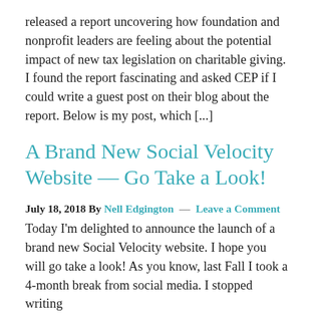released a report uncovering how foundation and nonprofit leaders are feeling about the potential impact of new tax legislation on charitable giving. I found the report fascinating and asked CEP if I could write a guest post on their blog about the report. Below is my post, which [...]
A Brand New Social Velocity Website — Go Take a Look!
July 18, 2018 By Nell Edgington — Leave a Comment
Today I'm delighted to announce the launch of a brand new Social Velocity website. I hope you will go take a look! As you know, last Fall I took a 4-month break from social media. I stopped writing